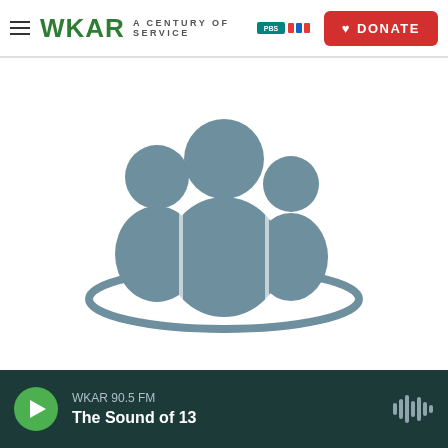WKAR A CENTURY OF SERVICE — DONATE
[Figure (illustration): Icon of three people/group figures with an elliptical ring beneath them, rendered in muted steel blue/grey color on white background. Represents a community or audience group icon.]
WKAR 90.5 FM — The Sound of 13